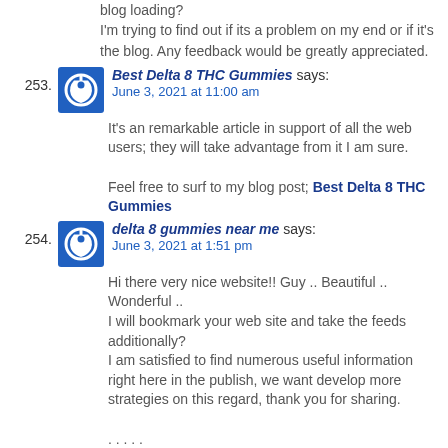blog loading?
I'm trying to find out if its a problem on my end or if it's the blog. Any feedback would be greatly appreciated.
253. Best Delta 8 THC Gummies says:
June 3, 2021 at 11:00 am
It's an remarkable article in support of all the web users; they will take advantage from it I am sure.
Feel free to surf to my blog post; Best Delta 8 THC Gummies
254. delta 8 gummies near me says:
June 3, 2021 at 1:51 pm
Hi there very nice website!! Guy .. Beautiful .. Wonderful ..
I will bookmark your web site and take the feeds additionally?
I am satisfied to find numerous useful information right here in the publish, we want develop more strategies on this regard, thank you for sharing.
. . . . .
my page … delta 8 gummies near me
255. online slot says:
June 3, 2021 at 2:46 pm
hi!,I really like your writing so so much! percentage we communicate extra approximately your